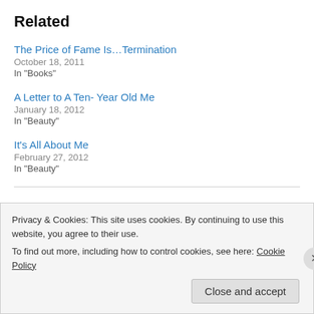Related
The Price of Fame Is…Termination
October 18, 2011
In "Books"
A Letter to A Ten- Year Old Me
January 18, 2012
In "Beauty"
It's All About Me
February 27, 2012
In "Beauty"
Privacy & Cookies: This site uses cookies. By continuing to use this website, you agree to their use. To find out more, including how to control cookies, see here: Cookie Policy